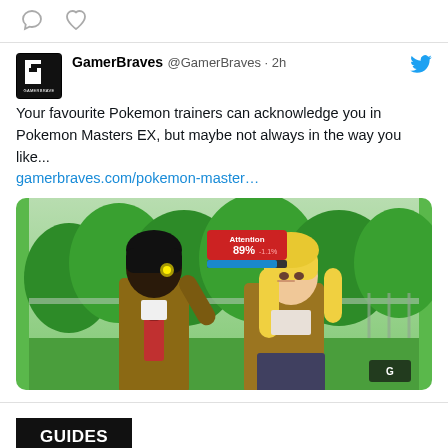[Figure (screenshot): Top bar with comment bubble icon and heart icon on white background]
GamerBraves @GamerBraves · 2h
Your favourite Pokemon trainers can acknowledge you in Pokemon Masters EX, but maybe not always in the way you like...
gamerbraves.com/pokemon-master…
[Figure (screenshot): Pokemon Masters EX game screenshot showing two anime-style characters (one dark-haired in brown suit, one blonde female in brown jacket) with an 'Attention 89%' status bar overlay, green tree background]
GUIDES
[ Guide ] Soul Hackers 2: What You Get On